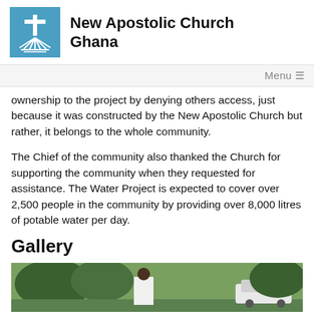New Apostolic Church Ghana
ownership to the project by denying others access, just because it was constructed by the New Apostolic Church but rather, it belongs to the whole community.
The Chief of the community also thanked the Church for supporting the community when they requested for assistance. The Water Project is expected to cover over 2,500 people in the community by providing over 8,000 litres of potable water per day.
Gallery
[Figure (photo): A man wearing a face mask and white uniform standing outdoors near trees and a white vehicle]